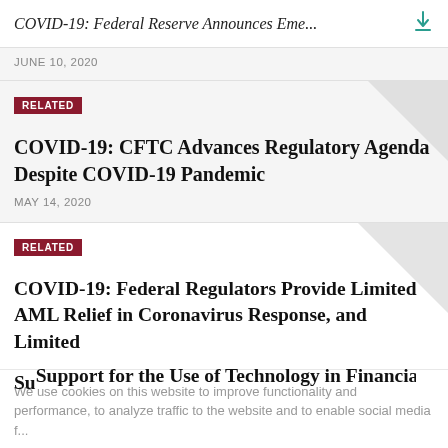COVID-19: Federal Reserve Announces Eme...
JUNE 10, 2020
RELATED
COVID-19: CFTC Advances Regulatory Agenda Despite COVID-19 Pandemic
MAY 14, 2020
RELATED
COVID-19: Federal Regulators Provide Limited AML Relief in Coronavirus Response, and Limited Support for the Use of Technology in Financial...
We use cookies on this website to improve functionality and performance, to analyze traffic to the website and to enable social media f...